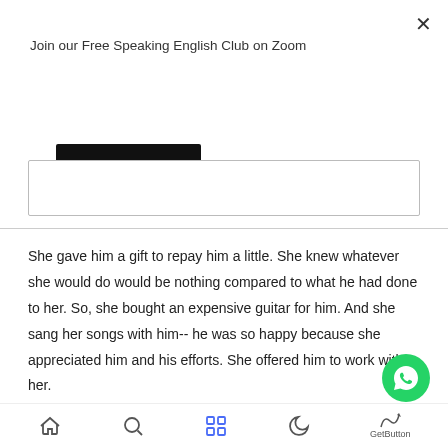Join our Free Speaking English Club on Zoom
Subscribe
She gave him a gift to repay him a little. She knew whatever she would do would be nothing compared to what he had done to her. So, she bought an expensive guitar for him. And she sang her songs with him-- he was so happy because she appreciated him and his efforts. She offered him to work with her.
GetButton